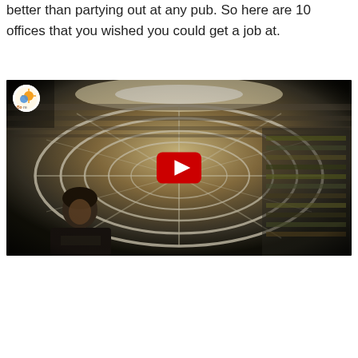better than partying out at any pub. So here are 10 offices that you wished you could get a job at.
[Figure (screenshot): YouTube video embed showing a fisheye-lens interior view of an office with spiral/curved white structural elements and shelving, with a man visible in the lower left. A YouTube play button (red rounded rectangle with white triangle) is centered on the image. A small circular logo badge is in the top-left corner of the video.]